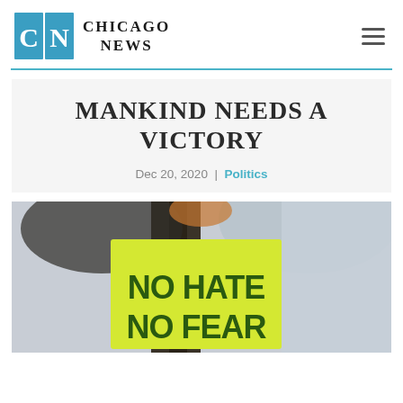CHICAGO NEWS
MANKIND NEEDS A VICTORY
Dec 20, 2020 | Politics
[Figure (photo): Person holding a yellow sign that reads 'NO HATE NO FEAR' at an outdoor protest, with trees and blurred background]